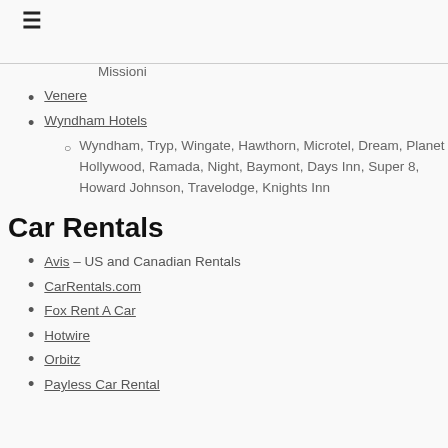≡
Missioni
Venere
Wyndham Hotels
Wyndham, Tryp, Wingate, Hawthorn, Microtel, Dream, Planet Hollywood, Ramada, Night, Baymont, Days Inn, Super 8, Howard Johnson, Travelodge, Knights Inn
Car Rentals
Avis – US and Canadian Rentals
CarRentals.com
Fox Rent A Car
Hotwire
Orbitz
Payless Car Rental